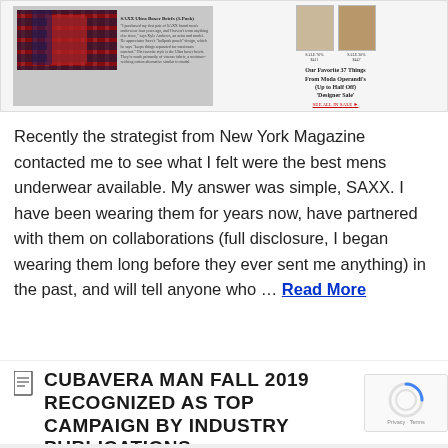[Figure (screenshot): Screenshot of a webpage showing SAXX Ultra Boxer Briefs product image on the left with plaid/red boxers and product caption, and on the right a grid of clothing thumbnails with title 'Our Favorite 37 Things From Moda Operandi's (Up to Half Off) Designer Sale' with a 'SEE ALL IN SALE' link.]
Recently the strategist from New York Magazine contacted me to see what I felt were the best mens underwear available. My answer was simple, SAXX. I have been wearing them for years now, have partnered with them on collaborations (full disclosure, I began wearing them long before they ever sent me anything) in the past, and will tell anyone who … Read More
CUBAVERA MAN FALL 2019 RECOGNIZED AS TOP CAMPAIGN BY INDUSTRY PUBLICATIONS